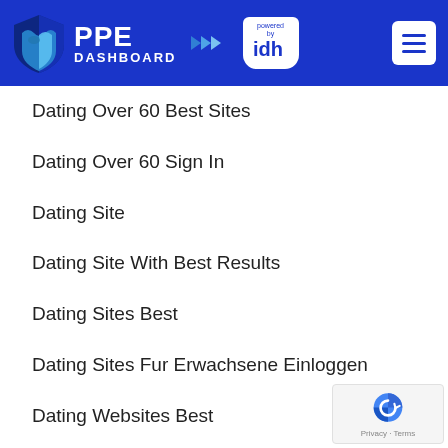PPE DASHBOARD powered by idh
Dating Over 60 Best Sites
Dating Over 60 Sign In
Dating Site
Dating Site With Best Results
Dating Sites Best
Dating Sites Fur Erwachsene Einloggen
Dating Websites Best
Dating Websites For Marriage
Dating-Bewertung.De Bekanntschaft